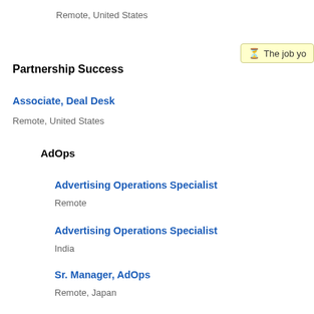Remote, United States
Partnership Success
Associate, Deal Desk
Remote, United States
AdOps
Advertising Operations Specialist
Remote
Advertising Operations Specialist
India
Sr. Manager, AdOps
Remote, Japan
Brand Solutions
Director, Partnership Success (Brand Solutions)